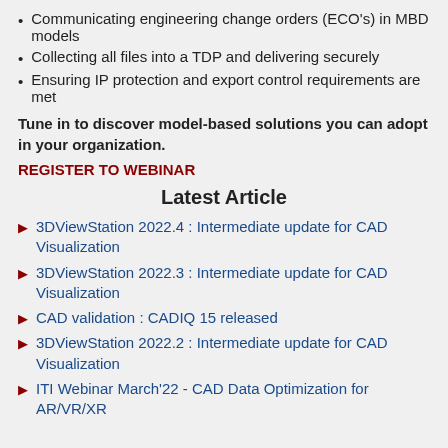Communicating engineering change orders (ECO's) in MBD models
Collecting all files into a TDP and delivering securely
Ensuring IP protection and export control requirements are met
Tune in to discover model-based solutions you can adopt in your organization.
REGISTER TO WEBINAR
Latest Article
3DViewStation 2022.4 : Intermediate update for CAD Visualization
3DViewStation 2022.3 : Intermediate update for CAD Visualization
CAD validation : CADIQ 15 released
3DViewStation 2022.2 : Intermediate update for CAD Visualization
ITI Webinar March'22 - CAD Data Optimization for AR/VR/XR